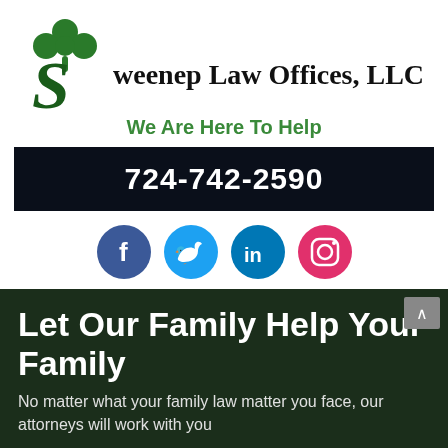[Figure (logo): Sweeney Law Offices LLC logo with green shamrock and stylized S letter, firm name in blackletter font]
We Are Here To Help
724-742-2590
[Figure (infographic): Social media icons row: Facebook (blue), Twitter (cyan), LinkedIn (blue), Instagram (pink/red)]
Let Our Family Help Your Family
No matter what your family law matter you face, our attorneys will work with you